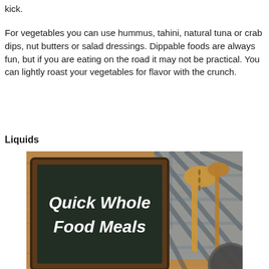kick.
For vegetables you can use hummus, tahini, natural tuna or crab dips, nut butters or salad dressings. Dippable foods are always fun, but if you are eating on the road it may not be practical. You can lightly roast your vegetables for flavor with the crunch.
Liquids
[Figure (photo): A chalkboard sign with wooden kitchen spoons and a plaid cloth on a rustic wooden table. The chalkboard reads 'Quick Whole Food Meals' in bold white text.]